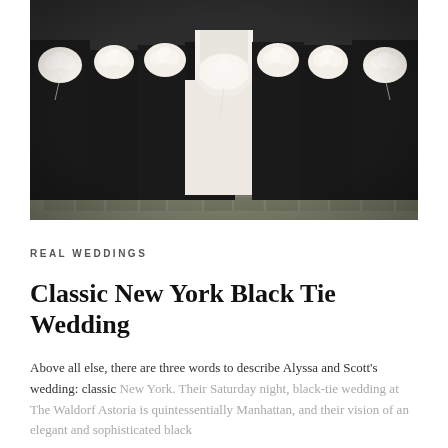[Figure (photo): Wedding party photo showing a bride in a white gown centered among bridesmaids in black dresses, all holding white floral bouquets, standing on a cobblestone surface.]
REAL WEDDINGS
Classic New York Black Tie Wedding
Above all else, there are three words to describe Alyssa and Scott's wedding: classic New York. Their Saturday night, black-tie wedding at The Waldorf Astoria is quintessentially Manhattan, and their vision of an elegant and sophisticated black